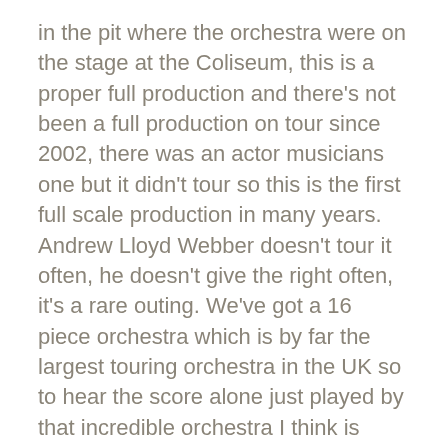in the pit where the orchestra were on the stage at the Coliseum, this is a proper full production and there's not been a full production on tour since 2002, there was an actor musicians one but it didn't tour so this is the first full scale production in many years. Andrew Lloyd Webber doesn't tour it often, he doesn't give the right often, it's a rare outing. We've got a 16 piece orchestra which is by far the largest touring orchestra in the UK so to hear the score alone just played by that incredible orchestra I think is worth the ticket price, it's absolutely stunning.
ON: Are you looking forward to returning to Manchester?
Ria: I cannot wait. I did Evita there when I